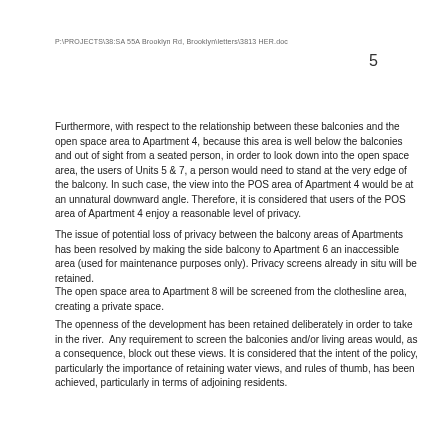P:\PROJECTS\38:SA 55A Brooklyn Rd, Brooklyn\letters\3813 HER.doc
5
Furthermore, with respect to the relationship between these balconies and the open space area to Apartment 4, because this area is well below the balconies and out of sight from a seated person, in order to look down into the open space area, the users of Units 5 & 7, a person would need to stand at the very edge of the balcony. In such case, the view into the POS area of Apartment 4 would be at an unnatural downward angle. Therefore, it is considered that users of the POS area of Apartment 4 enjoy a reasonable level of privacy.
The issue of potential loss of privacy between the balcony areas of Apartments has been resolved by making the side balcony to Apartment 6 an inaccessible area (used for maintenance purposes only). Privacy screens already in situ will be retained.
The open space area to Apartment 8 will be screened from the clothesline area, creating a private space.
The openness of the development has been retained deliberately in order to take in the river. Any requirement to screen the balconies and/or living areas would, as a consequence, block out these views. It is considered that the intent of the policy, particularly the importance of retaining water views, and rules of thumb, has been achieved, particularly in terms of adjoining residents.